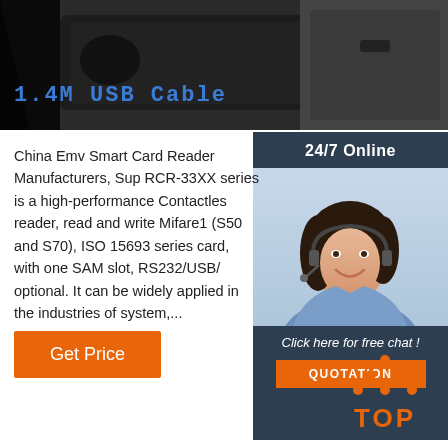[Figure (photo): Dark black rectangular smart card reader device, close-up product photo on white background]
1.4M USB Cable
[Figure (infographic): 24/7 Online chat sidebar with customer service agent photo, 'Click here for free chat!' text and QUOTATION button]
China Emv Smart Card Reader Manufacturers, Sup RCR-33XX series is a high-performance Contactles reader, read and write Mifare1 (S50 and S70), ISO 15693 series card, with one SAM slot, RS232/USB/ optional. It can be widely applied in the industries of system,...
[Figure (other): Orange 'Get Price' button]
[Figure (logo): TOP icon with orange dots arranged in triangle and orange TOP text]